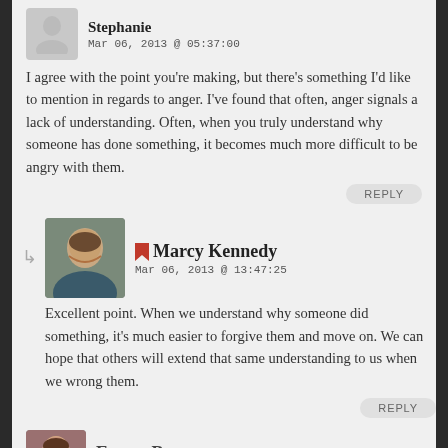Stephanie
Mar 06, 2013 @ 05:37:00
I agree with the point you're making, but there's something I'd like to mention in regards to anger. I've found that often, anger signals a lack of understanding. Often, when you truly understand why someone has done something, it becomes much more difficult to be angry with them.
REPLY
Marcy Kennedy
Mar 06, 2013 @ 13:47:25
Excellent point. When we understand why someone did something, it's much easier to forgive them and move on. We can hope that others will extend that same understanding to us when we wrong them.
REPLY
Emma Burcart
Mar 06, 2013 @ 13:12:41
Hal I just watched the Avengers so I actually got